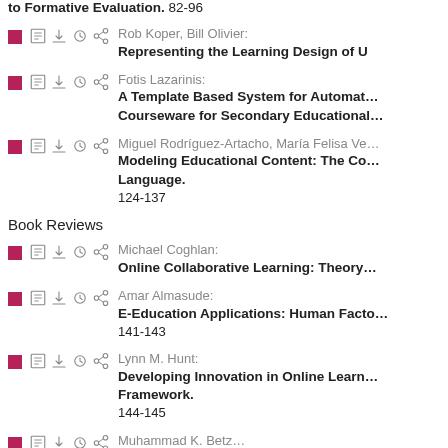to Formative Evaluation. 82-96
Rob Koper, Bill Olivier: Representing the Learning Design of U
Fotis Lazarinis: A Template Based System for Automat... Courseware for Secondary Educational...
Miguel Rodríguez-Artacho, María Felisa Ve... Modeling Educational Content: The Co... Language. 124-137
Book Reviews
Michael Coghlan: Online Collaborative Learning: Theory
Amar Almasude: E-Education Applications: Human Facto... 141-143
Lynn M. Hunt: Developing Innovation in Online Learn... Framework. 144-145
Muhammad K. Betz...